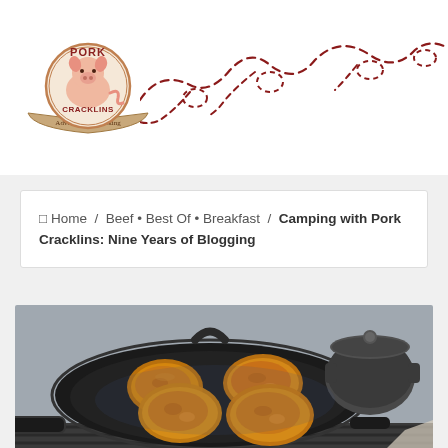[Figure (logo): Pork Cracklins logo — cartoon pig with banner text, pink and brown tones]
[Figure (illustration): Decorative dashed curvy line path in dark red/maroon color stretching across the top header area]
⬜ Home / Beef • Best Of • Breakfast / Camping with Pork Cracklins: Nine Years of Blogging
[Figure (photo): Overhead photo of four round pork cracklin patties frying in a large cast-iron skillet on a grill, with a small cast-iron pot visible in the background]